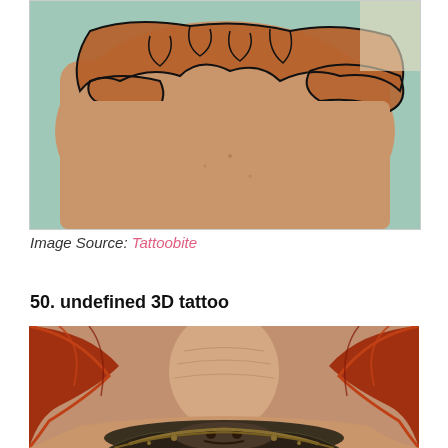[Figure (photo): Close-up photo of a person's shoulder/back area showing a large tattoo of a world map outline in dark ink on top of reddish-brown pigmented skin. The background includes teal/green color at the edges.]
Image Source: Tattoobite
50. undefined 3D tattoo
[Figure (photo): Photo showing the back of a person's neck and upper back. The person has red/auburn hair. A detailed 3D tattoo of an ornate face or mask design is visible on the upper back/shoulders area. Skin tones are warm and the image is cropped at the bottom.]